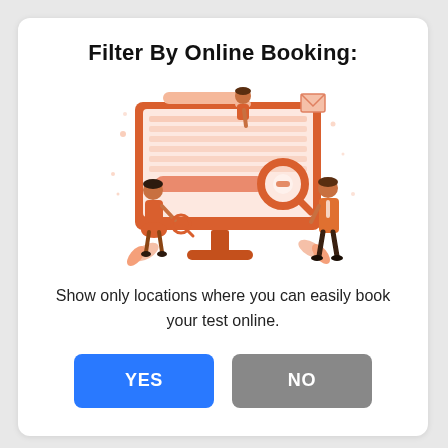Filter By Online Booking:
[Figure (illustration): Illustration of people interacting with a large desktop monitor displaying a search/booking interface. A woman stands to the left holding a magnifying glass, a man sits at the top of the monitor, and another man in orange stands to the right holding a large magnifying glass. The monitor shows a table/calendar interface with a search bar. Orange and salmon color scheme with decorative dots and leaf elements.]
Show only locations where you can easily book your test online.
YES
NO